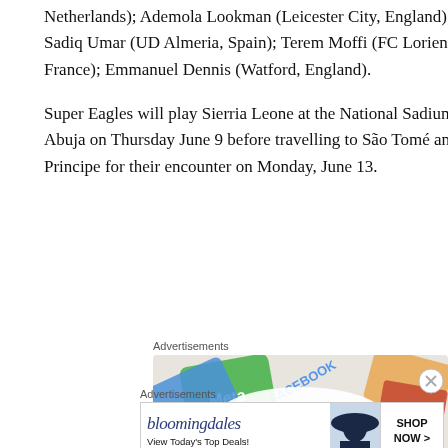Netherlands); Ademola Lookman (Leicester City, England); Sadiq Umar (UD Almeria, Spain); Terem Moffi (FC Lorient, France); Emmanuel Dennis (Watford, England).
Super Eagles will play Sierria Leone at the National Sadium, Abuja on Thursday June 9 before travelling to São Tomé and Principe for their encounter on Monday, June 13.
Advertisements
[Figure (screenshot): WordPress CMS advertisement banner showing social media icons including Meta and Facebook logos with text 'We're the WordPress CMS']
Advertisements
[Figure (screenshot): Bloomingdales advertisement banner showing 'bloomingdales' logo in blue italic text, 'View Today's Top Deals!' tagline, a woman in a hat, and a 'SHOP NOW >' button]